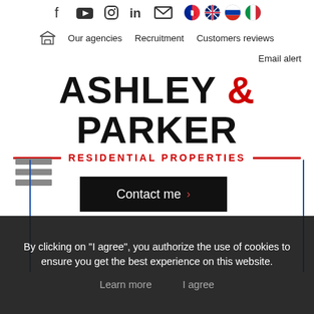[Figure (screenshot): Social media icons: Facebook, YouTube, Instagram, LinkedIn, Email, and four language flag circles]
Our agencies   Recruitment   Customers reviews
Email alert
ASHLEY & PARKER RESIDENTIAL PROPERTIES
[Figure (other): Hamburger menu icon (three horizontal grey bars)]
[Figure (other): Contact me button with arrow]
By clicking on "I agree", you authorize the use of cookies to ensure you get the best experience on this website.
Learn more   I agree